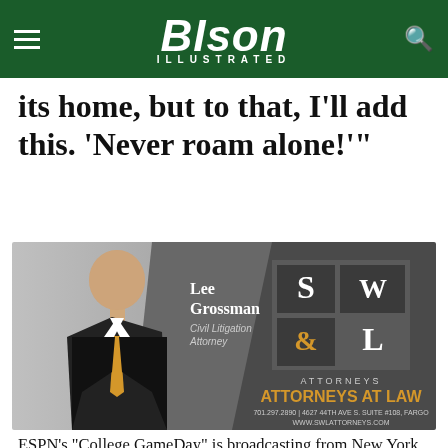BISON ILLUSTRATED
its home, but to that, I'll add this. 'Never roam alone!'"
[Figure (photo): Advertisement for SW&L Attorneys featuring Lee Grossman, Civil Litigation Attorney. Shows a man in a dark suit with an orange tie smiling, with the SW&L logo and text: ATTORNEYS AT LAW, 701.297.2890 | 4627 44TH AVE S. SUITE #108, FARGO, WWW.SWLATTORNEYS.COM]
ESPN’s “College GameDay” is broadcasting from New York City and Tom Rinaldi’s segment on